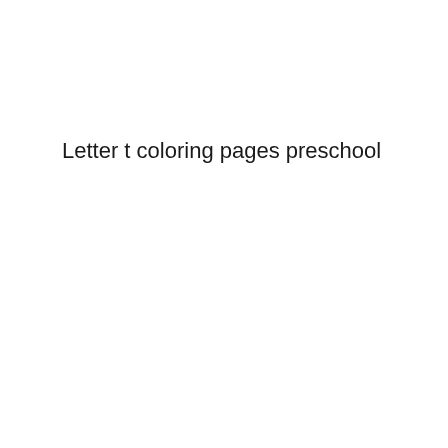Letter t coloring pages preschool